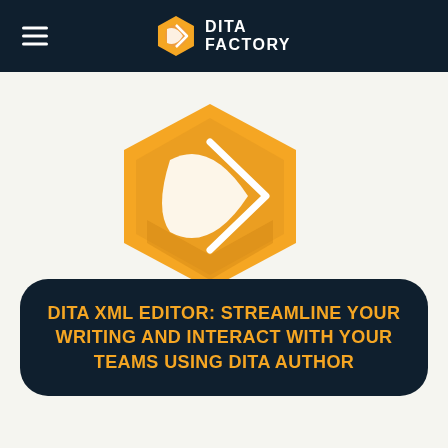DITA FACTORY
[Figure (logo): DITA Factory hexagon logo — large orange hexagon with white crescent and arrow shapes inside]
DITA XML EDITOR: STREAMLINE YOUR WRITING AND INTERACT WITH YOUR TEAMS USING DITA AUTHOR